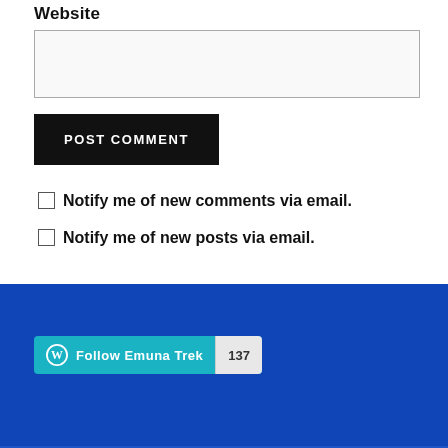Website
[text input box for website]
POST COMMENT
Notify me of new comments via email.
Notify me of new posts via email.
Follow Emuna Trek 137